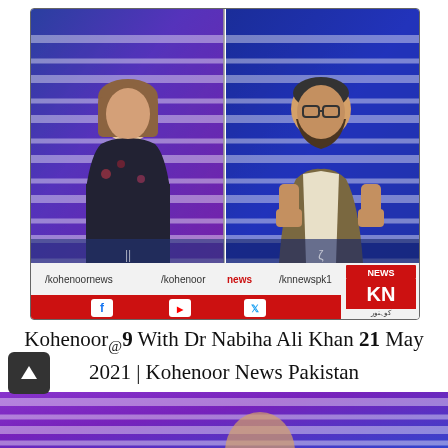[Figure (screenshot): TV news broadcast screenshot showing two people in a split-screen format on Kohenoor News Pakistan. Left panel: a woman in dark floral clothing. Right panel: a bearded man in grey vest gesturing with both fists raised. Both panels have blue/purple diagonal stripe background. Bottom bar shows social media handles /kohenoornews, /kohenoor news, /knnewspk1 and KN News logo with Facebook, YouTube, Twitter icons and www.kohenoor.tv]
Kohenoor@9 With Dr Nabiha Ali Khan 21 May 2021 | Kohenoor News Pakistan
[Figure (screenshot): Partial screenshot of another Kohenoor News broadcast visible at bottom of page, showing purple/blue diagonal stripe background and partial figure.]